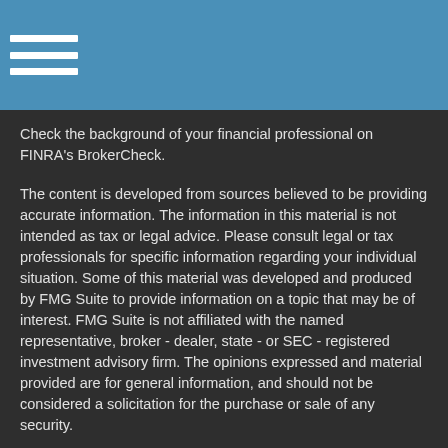Check the background of your financial professional on FINRA’s BrokerCheck.
The content is developed from sources believed to be providing accurate information. The information in this material is not intended as tax or legal advice. Please consult legal or tax professionals for specific information regarding your individual situation. Some of this material was developed and produced by FMG Suite to provide information on a topic that may be of interest. FMG Suite is not affiliated with the named representative, broker - dealer, state - or SEC - registered investment advisory firm. The opinions expressed and material provided are for general information, and should not be considered a solicitation for the purchase or sale of any security.
We take protecting your data and privacy very seriously. As of January 1, 2020 the California Consumer Privacy Act (CCPA) suggests the following link as an extra measure to safeguard your data: Do not sell my personal information.